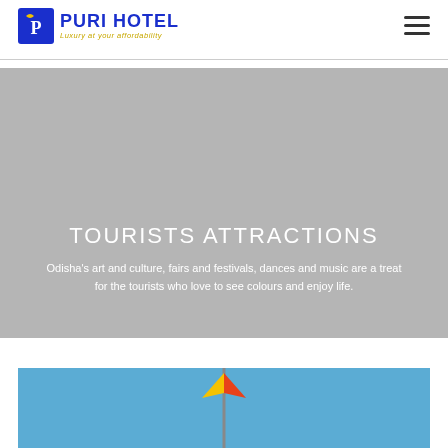[Figure (logo): Puri Hotel logo with blue text and gold tagline 'Luxury at your affordability']
TOURISTS ATTRACTIONS
Odisha's art and culture, fairs and festivals, dances and music are a treat for the tourists who love to see colours and enjoy life.
[Figure (photo): Blue sky background with partial view of a colorful structure or flag at bottom of page]